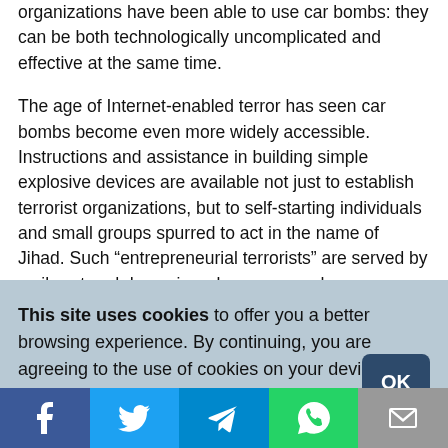organizations have been able to use car bombs: they can be both technologically uncomplicated and effective at the same time.

The age of Internet-enabled terror has seen car bombs become even more widely accessible. Instructions and assistance in building simple explosive devices are available not just to establish terrorist organizations, but to self-starting individuals and small groups spurred to act in the name of Jihad. Such “entrepreneurial terrorists” are served by a vibrant and dynamic web presence where extremists can meet in
This site uses cookies to offer you a better browsing experience. By continuing, you are agreeing to the use of cookies on your device as described in our privacy policy. Learn more
[Figure (other): Social sharing bar with Facebook, Twitter, Telegram, WhatsApp, and Email buttons]